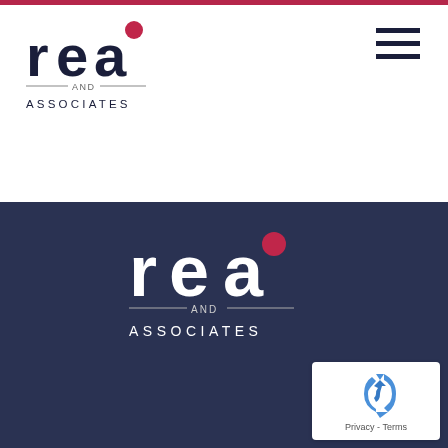[Figure (logo): REA and Associates logo in header - dark navy text 'rea' with red dot over the 'a', with 'AND' flanked by horizontal lines and 'ASSOCIATES' below]
[Figure (logo): Hamburger menu icon - three horizontal black bars in upper right corner]
[Figure (logo): REA and Associates logo in footer - white text 'rea' with red dot over the 'a', with 'AND' flanked by horizontal lines and 'ASSOCIATES' below, on dark navy background]
[Figure (other): Google reCAPTCHA badge in bottom right corner with recycling arrow icon and 'Privacy - Terms' text]